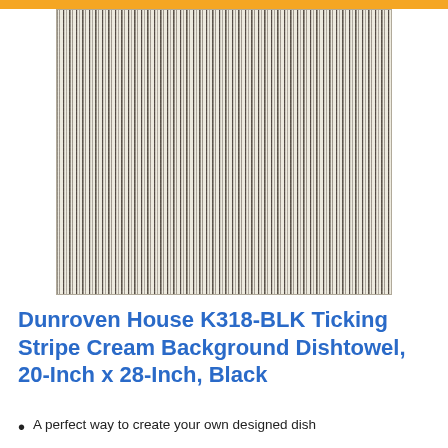[Figure (photo): Close-up photo of a ticking stripe fabric — cream/off-white background with narrow vertical dark gray/charcoal stripes repeating across the full width]
Dunroven House K318-BLK Ticking Stripe Cream Background Dishtowel, 20-Inch x 28-Inch, Black
A perfect way to create your own designed dish